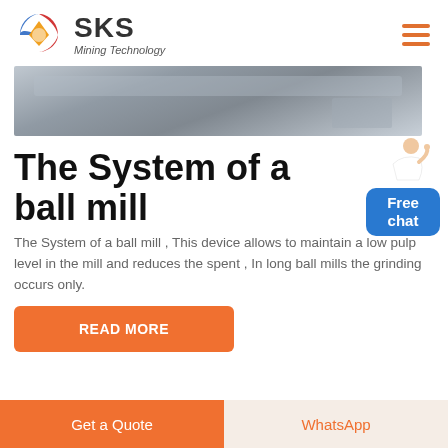SKS Mining Technology
[Figure (photo): Close-up photo of metal industrial mill components, grey metallic surface with structural elements]
The System of a ball mill
The System of a ball mill , This device allows to maintain a low pulp level in the mill and reduces the spent , In long ball mills the grinding occurs only.
READ MORE
Get a Quote
WhatsApp